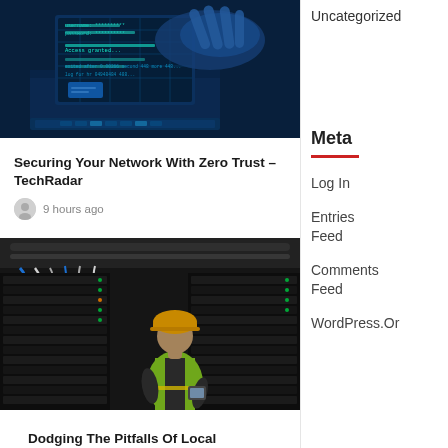[Figure (photo): Hacker typing on a laptop with blue-tinted cybersecurity imagery, showing login credentials on screen]
Securing Your Network With Zero Trust – TechRadar
9 hours ago
[Figure (photo): IT technician wearing yellow hard hat and high-visibility vest working in a server room with cable management]
Dodging The Pitfalls Of Local
Uncategorized
Meta
Log In
Entries Feed
Comments Feed
WordPress.Or